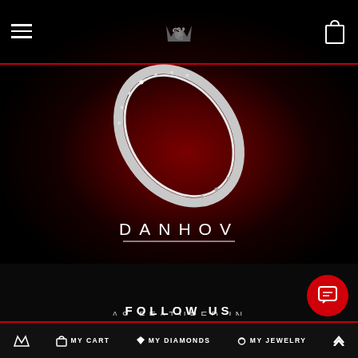DANHOV — Navigation bar with hamburger menu, logo, and shopping bag
[Figure (photo): Danhov jewelry brand hero image showing a diamond ring on a dark red radial background with the brand logo mark (stylized crown/W) above and the word DANHOV centered with underline below]
AS FEATURED IN
The New York Times
FOLLOW US
MY CART   MY DIAMONDS   MY JEWELRY